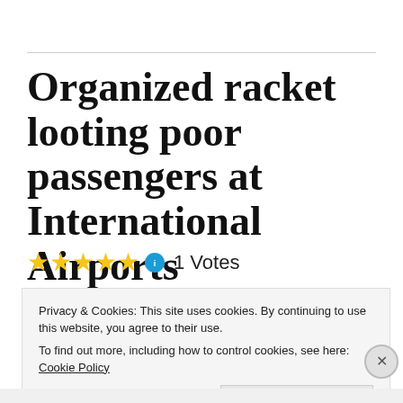Organized racket looting poor passengers at International Airports
★★★★★ ℹ 1 Votes
Privacy & Cookies: This site uses cookies. By continuing to use this website, you agree to their use.
To find out more, including how to control cookies, see here: Cookie Policy